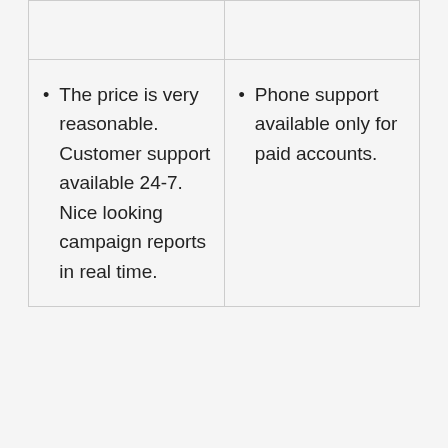|  |  |
| • The price is very reasonable. Customer support available 24-7. Nice looking campaign reports in real time. | • Phone support available only for paid accounts. |